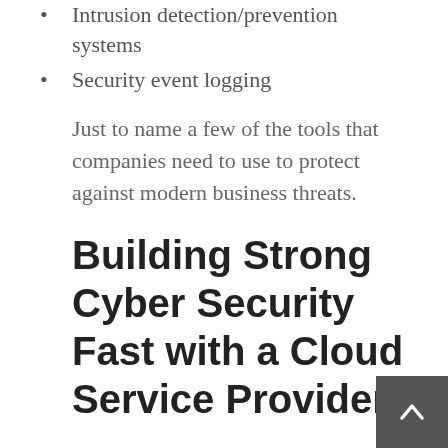Intrusion detection/prevention systems
Security event logging
Just to name a few of the tools that companies need to use to protect against modern business threats.
Building Strong Cyber Security Fast with a Cloud Service Provider
While many of the above tools are available as individual